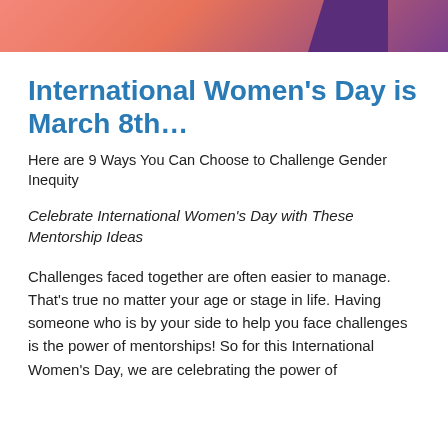[Figure (illustration): Decorative banner image with coral/salmon and purple tones, partial view of illustrated figures on an orange-pink background]
International Women's Day is March 8th…
Here are 9 Ways You Can Choose to Challenge Gender Inequity
Celebrate International Women's Day with These Mentorship Ideas
Challenges faced together are often easier to manage. That's true no matter your age or stage in life. Having someone who is by your side to help you face challenges is the power of mentorships! So for this International Women's Day, we are celebrating the power of